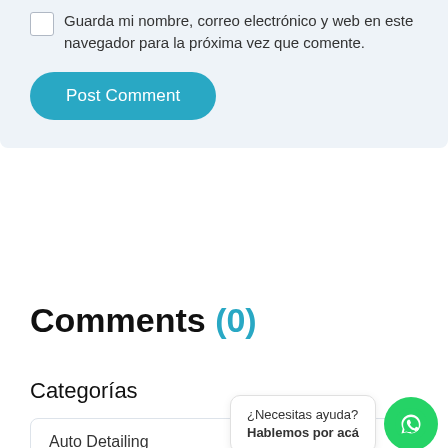Guarda mi nombre, correo electrónico y web en este navegador para la próxima vez que comente.
Post Comment
Comments (0)
Categorías
Auto Detailing
Car News (2)
¿Necesitas ayuda? Hablemos por acá